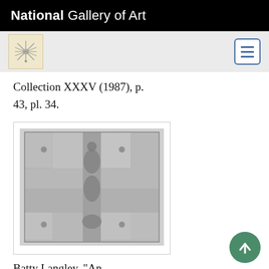National Gallery of Art
Collection XXXV (1987), p. 43, pl. 34.
[Figure (photo): Black and white aerial/plan view photograph of a formal garden layout, showing geometric patterns, paths, and planted sections. Attributed to Batty Langley.]
Batty Langley, "An Improvement of a beautiful Garden at Twickenham," in